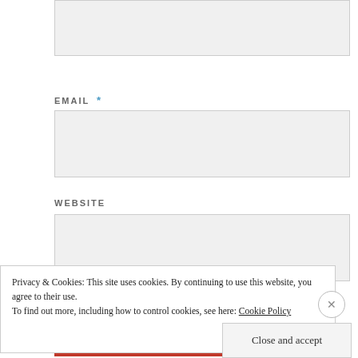[Figure (screenshot): Partial top input box (comment textarea, cropped at top of page)]
EMAIL *
[Figure (screenshot): Email input field (empty text box)]
WEBSITE
[Figure (screenshot): Website input field (empty text box)]
POST COMMENT
Privacy & Cookies: This site uses cookies. By continuing to use this website, you agree to their use.
To find out more, including how to control cookies, see here: Cookie Policy